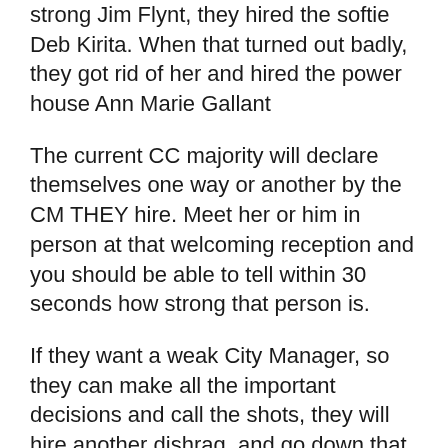strong Jim Flynt, they hired the softie Deb Kirita. When that turned out badly, they got rid of her and hired the power house Ann Marie Gallant
The current CC majority will declare themselves one way or another by the CM THEY hire. Meet her or him in person at that welcoming reception and you should be able to tell within 30 seconds how strong that person is.
If they want a weak City Manager, so they can make all the important decisions and call the shots, they will hire another dishrag, and go down that road at a time when some toughness, especially